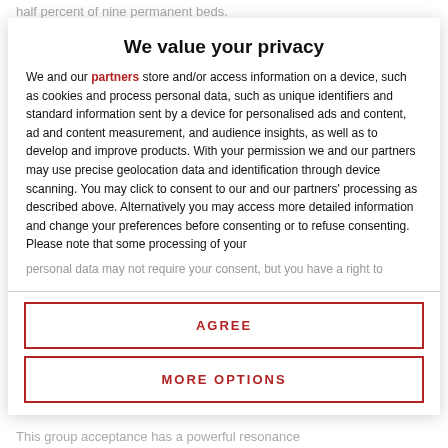half percent of nine permanent beds.
We value your privacy
We and our partners store and/or access information on a device, such as cookies and process personal data, such as unique identifiers and standard information sent by a device for personalised ads and content, ad and content measurement, and audience insights, as well as to develop and improve products. With your permission we and our partners may use precise geolocation data and identification through device scanning. You may click to consent to our and our partners' processing as described above. Alternatively you may access more detailed information and change your preferences before consenting or to refuse consenting. Please note that some processing of your
personal data may not require your consent, but you have a right to
AGREE
MORE OPTIONS
This group acceptance has a powerful resonance